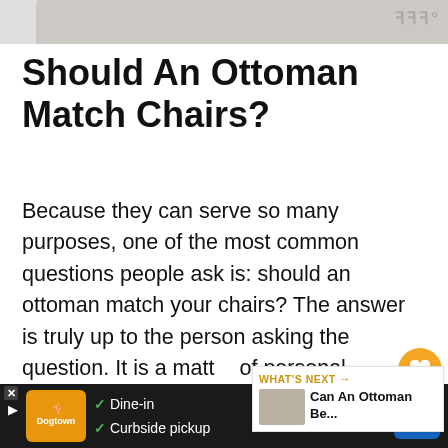[Figure (photo): Partial top strip showing a room/furniture photo in light gray tones, with watermark logo top right]
Should An Ottoman Match Chairs?
Because they can serve so many purposes, one of the most common questions people ask is: should an ottoman match your chairs? The answer is truly up to the person asking the question. It is a matter of personal preference as to whether or not your ottomans should match specific chairs.
Now, it isn't the best idea to try to pair two completely different styles with one another. While two pieces that look it can be completely together as long as you
[Figure (screenshot): What's Next panel showing 'Can An Ottoman Be...' with a thumbnail image]
[Figure (screenshot): Bottom advertisement bar for a restaurant showing Dine-in and Curbside pickup options]